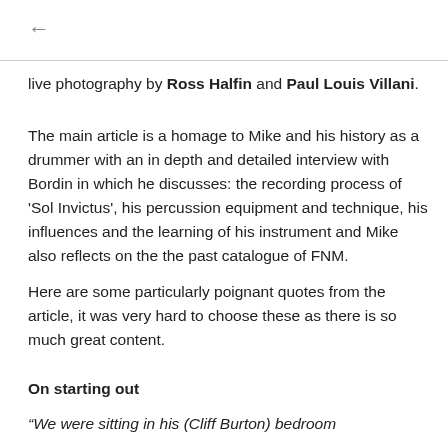← (back arrow)
live photography by Ross Halfin and Paul Louis Villani.
The main article is a homage to Mike and his history as a drummer with an in depth and detailed interview with Bordin in which he discusses: the recording process of 'Sol Invictus', his percussion equipment and technique, his influences and the learning of his instrument and Mike also reflects on the the past catalogue of FNM.
Here are some particularly poignant quotes from the article, it was very hard to choose these as there is so much great content.
On starting out
“We were sitting in his (Cliff Burton) bedroom